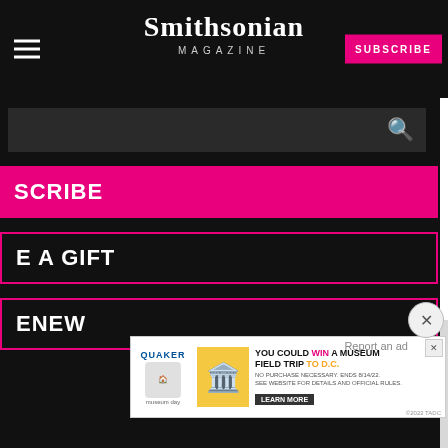Smithsonian MAGAZINE
water, the boat will g, a city in North stined for a local e cleaned, cooked, hipped to supermarkets n and North America, or canned tuna in the
[Figure (screenshot): Smithsonian Magazine website navigation overlay with black background showing search bar, SUBSCRIBE button in pink, GIVE A GIFT outline button, and RENEW outline button]
e humble skipjack, is
Report an ad
[Figure (infographic): Quaker advertisement: YOU COULD WIN A MUSEUM FIELD TRIP TO D.C. LEARN MORE. No purchase necessary. Ends 8/14/22. See website for details and official rules.]
Science
ognize the name